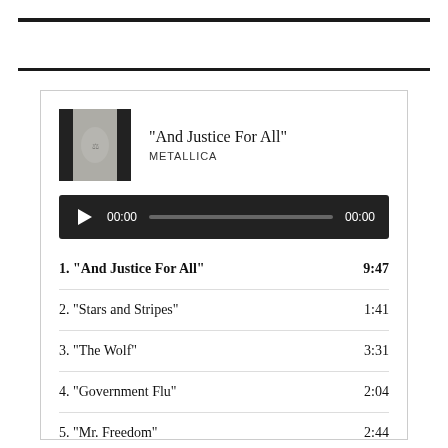[Figure (screenshot): Music player card showing album art thumbnail for 'And Justice For All' by Metallica, with audio playback bar showing 00:00 / 00:00, and a tracklist below]
1. “And Justice For All”  9:47
2. “Stars and Stripes”  1:41
3. “The Wolf”  3:31
4. “Government Flu”  2:04
5. “Mr. Freedom”  2:44